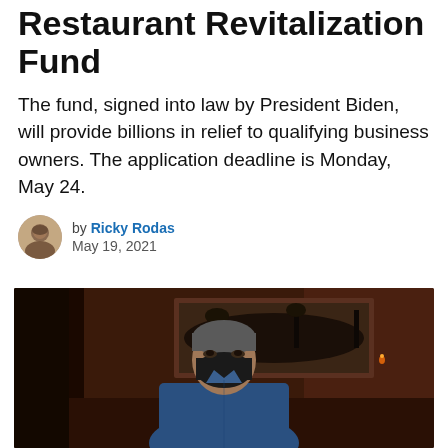Restaurant Revitalization Fund
The fund, signed into law by President Biden, will provide billions in relief to qualifying business owners. The application deadline is Monday, May 24.
by Ricky Rodas
May 19, 2021
[Figure (photo): A person wearing a black face mask and blue shirt stands inside a restaurant with warm orange/brown walls and a landscape painting visible in the background.]